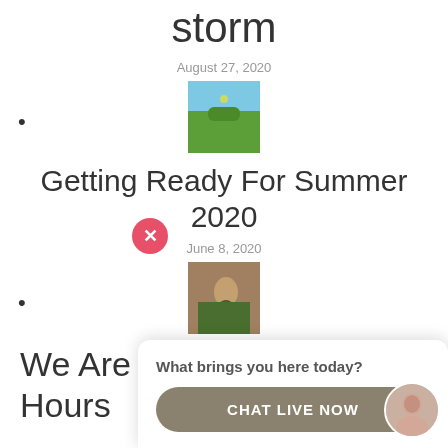storm
August 27, 2020
[Figure (photo): Small thumbnail photo of a golf course with green grass and blue sky]
Getting Ready For Summer 2020
June 8, 2020
[Figure (photo): Small thumbnail photo of a person with a dog outdoors]
We Are Open Regular Hours
[Figure (screenshot): Live chat widget overlay with close button, question 'What brings you here today?' and a 'CHAT LIVE NOW' button with a female avatar photo]